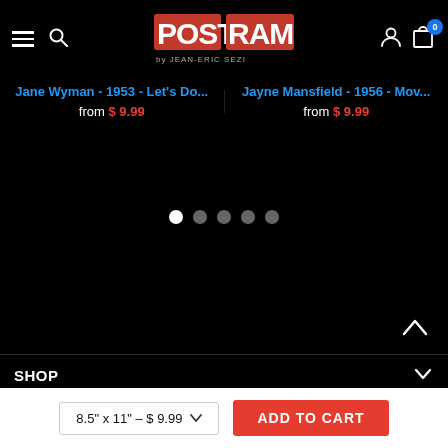[Figure (logo): Poster-Rama logo in red block letters on black background]
Jane Wyman - 1953 - Let's Do...
from $ 9.99
Jayne Mansfield - 1956 - Mov...
from $ 9.99
SHOP
INFORMATION
8.5" x 11" - $ 9.99
ADD TO CART